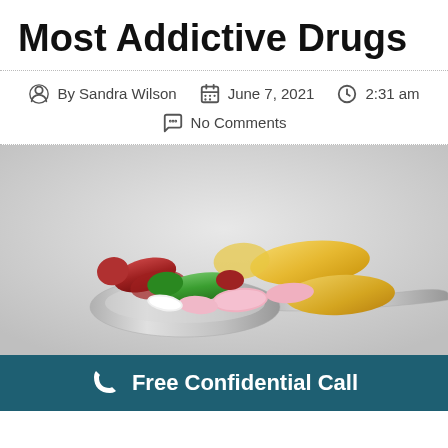Most Addictive Drugs
By Sandra Wilson   June 7, 2021   2:31 am   No Comments
[Figure (photo): A silver spoon holding a variety of colorful pills and capsules including red, green, gold/yellow, pink, and white tablets and gel capsules, on a light gray background.]
Free Confidential Call